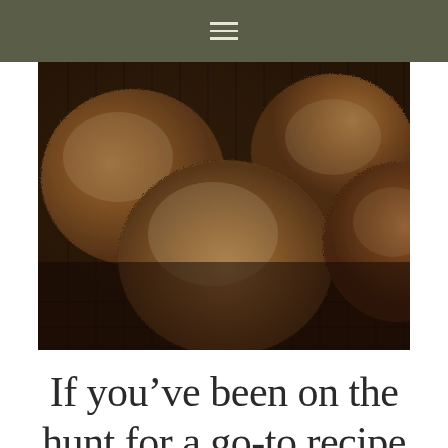[Figure (photo): Close-up overhead photo of several large, rustic muffins dusted with sugar, cooling on a wire rack. The muffins have a dark golden-brown color and crinkled tops.]
If you’ve been on the hunt for a go-to recipe for